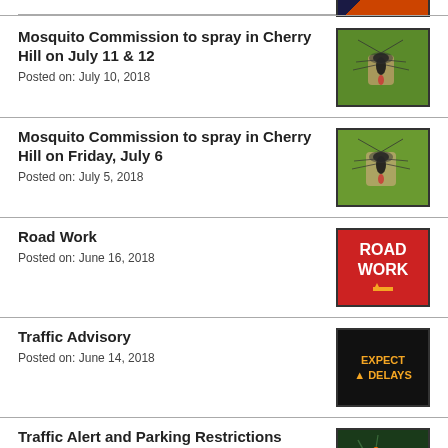[Figure (photo): Partial top image, cropped]
Mosquito Commission to spray in Cherry Hill on July 11 & 12
Posted on: July 10, 2018
[Figure (photo): Mosquito on green leaf]
Mosquito Commission to spray in Cherry Hill on Friday, July 6
Posted on: July 5, 2018
[Figure (photo): Mosquito on green leaf]
Road Work
Posted on: June 16, 2018
[Figure (photo): Red Road Work sign]
Traffic Advisory
Posted on: June 14, 2018
[Figure (photo): Electronic sign reading EXPECT DELAYS]
Traffic Alert and Parking Restrictions
Posted on: June 14, 2018
[Figure (photo): Aerial map with orange markers]